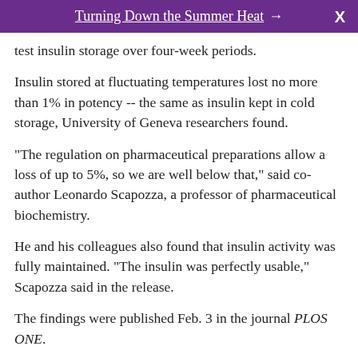Turning Down the Summer Heat → X
test insulin storage over four-week periods.
Insulin stored at fluctuating temperatures lost no more than 1% in potency -- the same as insulin kept in cold storage, University of Geneva researchers found.
"The regulation on pharmaceutical preparations allow a loss of up to 5%, so we are well below that," said co-author Leonardo Scapozza, a professor of pharmaceutical biochemistry.
He and his colleagues also found that insulin activity was fully maintained. "The insulin was perfectly usable," Scapozza said in the release.
The findings were published Feb. 3 in the journal PLOS ONE.